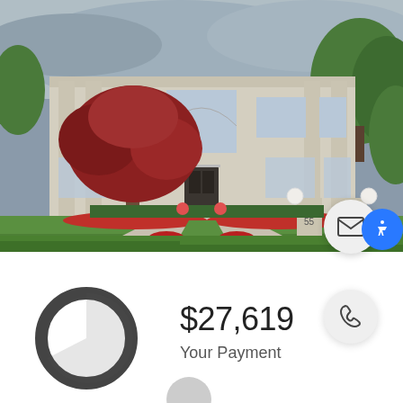[Figure (photo): Exterior photo of a large two-story stone mansion with arched window above the entrance, red Japanese maple tree in foreground left, manicured green lawn, red flower beds along the driveway, stone pillar gate with number 55, globe lanterns, and lush green trees in background under cloudy sky.]
$27,619
Your Payment